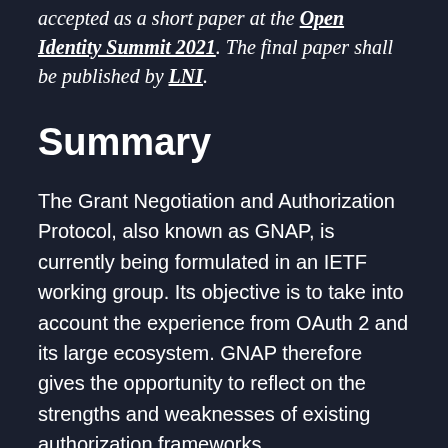accepted as a short paper at the Open Identity Summit 2021. The final paper shall be published by LNI.
Summary
The Grant Negotiation and Authorization Protocol, also known as GNAP, is currently being formulated in an IETF working group. Its objective is to take into account the experience from OAuth 2 and its large ecosystem. GNAP therefore gives the opportunity to reflect on the strengths and weaknesses of existing authorization frameworks